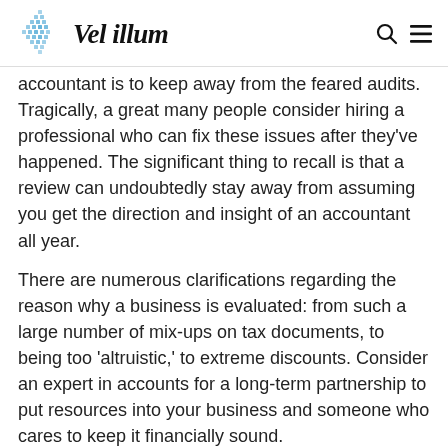Vel illum
accountant is to keep away from the feared audits. Tragically, a great many people consider hiring a professional who can fix these issues after they've happened. The significant thing to recall is that a review can undoubtedly stay away from assuming you get the direction and insight of an accountant all year.
There are numerous clarifications regarding the reason why a business is evaluated: from such a large number of mix-ups on tax documents, to being too 'altruistic,' to extreme discounts. Consider an expert in accounts for a long-term partnership to put resources into your business and someone who cares to keep it financially sound.
If you are looking forward to hiring reliable experts to